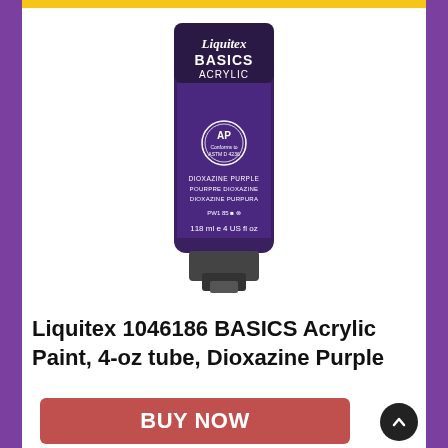[Figure (photo): Liquitex BASICS Acrylic paint tube, 4 fl oz / 118 ml, Dioxazine Purple color, dark purple tube with dark gray cap, showing AP certification seal]
Liquitex 1046186 BASICS Acrylic Paint, 4-oz tube, Dioxazine Purple
BUY NOW